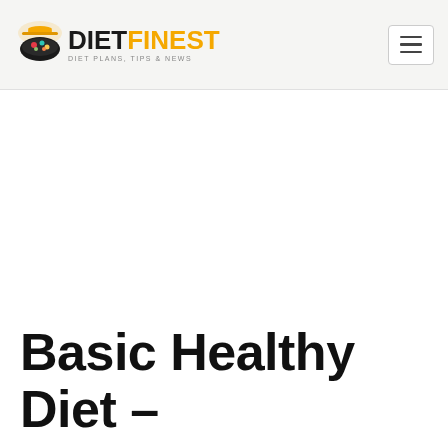DIETFINEST - DIET PLANS, TIPS & NEWS
Basic Healthy Diet –